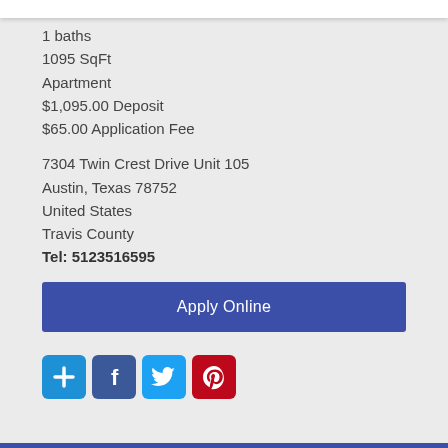1 baths
1095 SqFt
Apartment
$1,095.00 Deposit
$65.00 Application Fee
7304 Twin Crest Drive Unit 105
Austin, Texas 78752
United States
Travis County
Tel: 5123516595
[Figure (other): Apply Online button (blue rectangle)]
[Figure (other): Social share icons: add, Facebook, Twitter, Pinterest]